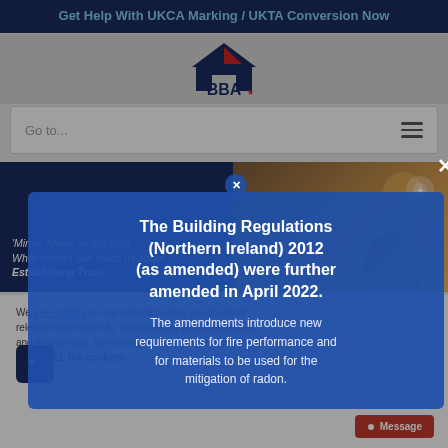Get Help With UKCA Marking / UKTA Conversion Now
[Figure (logo): BBA (British Board of Agrément) logo with house/chevron icon above text 'BBA']
Go to...
[Figure (photo): Hero image split: left dark navy blue panel with italic text 'Mirror, Mirror on the Wall...' What movies can teach us about Establishing Trust. Right panel shows a warm outdoor photo of a person with arms raised.]
We use cookies on our website to give you the most relevant experience by remembering your preferences and repeat visits. By clicking 'Accept' you consent to the use of ALL the cookies.
[Figure (screenshot): Modal dialog box with blue background containing building regulations notice]
The Building Regulations (Northern Ireland) 2012 (as amended) were further amended in April 2022.
The amendments introduce new requirements for fire performance and for materials to be used for the mitigation of radon.
Message